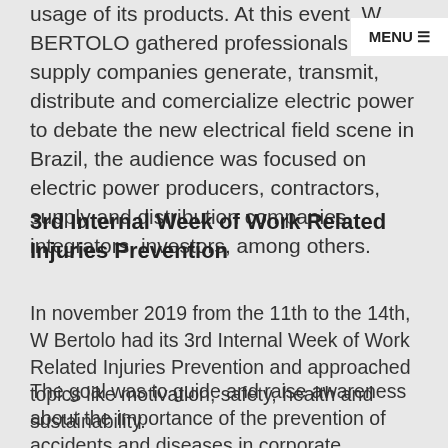usage of its products. At this event, W BERTOLO gathered professionals and supply companies generate, transmit, distribute and comercialize electric power to debate the new electrical field scene in Brazil, the audience was focused on electric power producers, contractors, supply and distribution companies, integrators, investors, among others.
3rd Internal Week of Work Related Injuries Prevention
In november 2019 from the 11th to the 14th, W Bertolo had its 3rd Internal Week of Work Related Injuries Prevention and approached topics like motivation, safety, health and sustainability.
The goal was to guide and raise awareness about the importance of the prevention of accidents and diseases in corporate environments and about valuing day to day well being, promoting improvement actions, awareness and training,